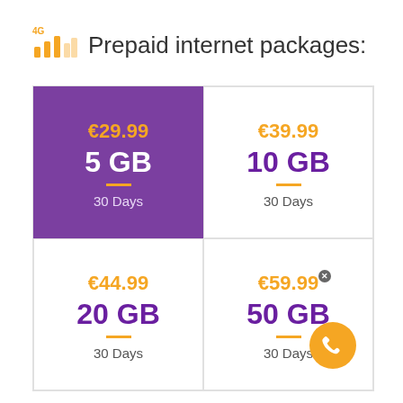Prepaid internet packages:
| Package | Price | Data | Duration |
| --- | --- | --- | --- |
| Plan 1 | €29.99 | 5 GB | 30 Days |
| Plan 2 | €39.99 | 10 GB | 30 Days |
| Plan 3 | €44.99 | 20 GB | 30 Days |
| Plan 4 | €59.99 | 50 GB | 30 Days |